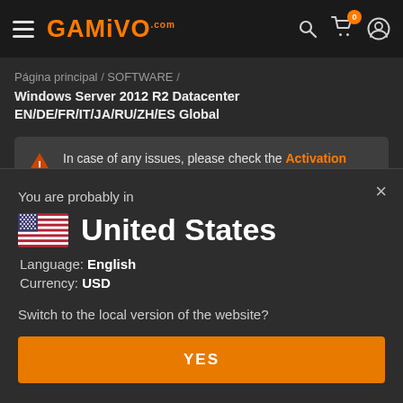GAMIVO.com
Página principal / SOFTWARE / Windows Server 2012 R2 Datacenter EN/DE/FR/IT/JA/RU/ZH/ES Global
In case of any issues, please check the Activation Guide FAQ
You are probably in United States Language: English Currency: USD Switch to the local version of the website? YES